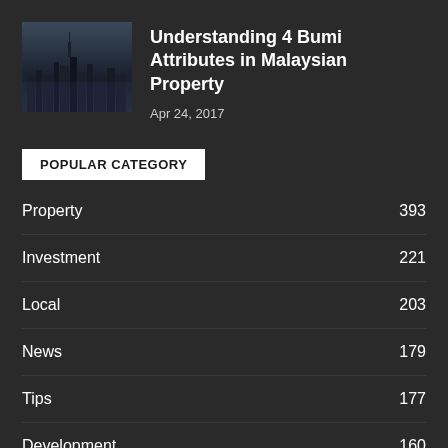[Figure (photo): Thumbnail image of a city skyline, dark toned, with skyscrapers visible]
Understanding 4 Bumi Attributes in Malaysian Property
Apr 24, 2017
POPULAR CATEGORY
Property 393
Investment 221
Local 203
News 179
Tips 177
Development 160
Guidance 73